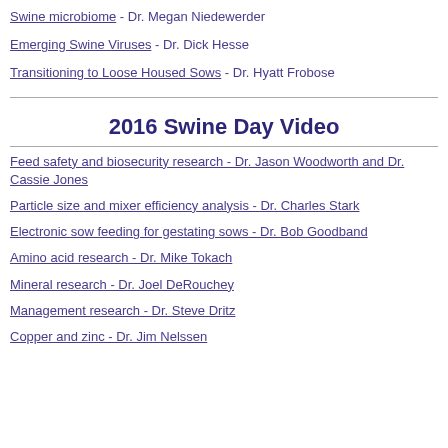Swine microbiome - Dr. Megan Niedewerder
Emerging Swine Viruses - Dr. Dick Hesse
Transitioning to Loose Housed Sows - Dr. Hyatt Frobose
2016 Swine Day Video
Feed safety and biosecurity research - Dr. Jason Woodworth and Dr. Cassie Jones
Particle size and mixer efficiency analysis - Dr. Charles Stark
Electronic sow feeding for gestating sows - Dr. Bob Goodband
Amino acid research - Dr. Mike Tokach
Mineral research - Dr. Joel DeRouchey
Management research - Dr. Steve Dritz
Copper and zinc - Dr. Jim Nelssen